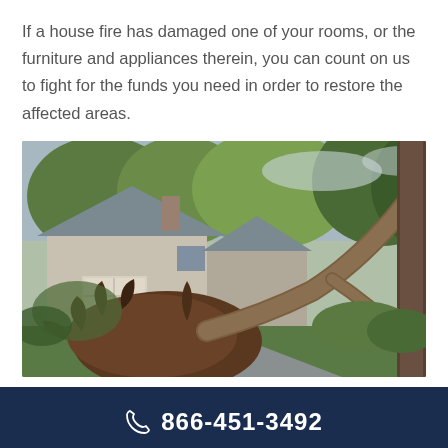If a house fire has damaged one of your rooms, or the furniture and appliances therein, you can count on us to fight for the funds you need in order to restore the affected areas.
[Figure (photo): Photograph of a fallen tree uprooted in front of a suburban house after a storm. The tree root ball is exposed and the trunk has fallen across the driveway. Green trees and shrubs visible in background alongside a white garage.]
866-451-3492